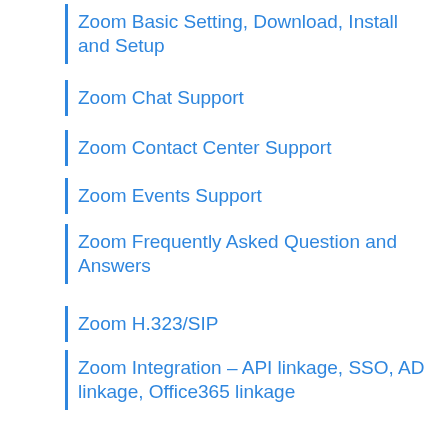Zoom Basic Setting, Download, Install and Setup
Zoom Chat Support
Zoom Contact Center Support
Zoom Events Support
Zoom Frequently Asked Question and Answers
Zoom H.323/SIP
Zoom Integration – API linkage, SSO, AD linkage, Office365 linkage
Zoom Integrations Setting
Zoom Meeting and Webinar
Zoom Meetings Support
Zoom Messaging – Chat function outside the meeting, chat during the meeting